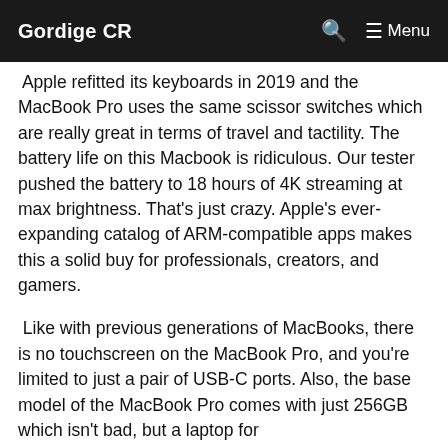Gordige CR  Menu
Apple refitted its keyboards in 2019 and the MacBook Pro uses the same scissor switches which are really great in terms of travel and tactility. The battery life on this Macbook is ridiculous. Our tester pushed the battery to 18 hours of 4K streaming at max brightness. That’s just crazy. Apple’s ever-expanding catalog of ARM-compatible apps makes this a solid buy for professionals, creators, and gamers.
Like with previous generations of MacBooks, there is no touchscreen on the MacBook Pro, and you’re limited to just a pair of USB-C ports. Also, the base model of the MacBook Pro comes with just 256GB which isn’t bad, but a laptop for